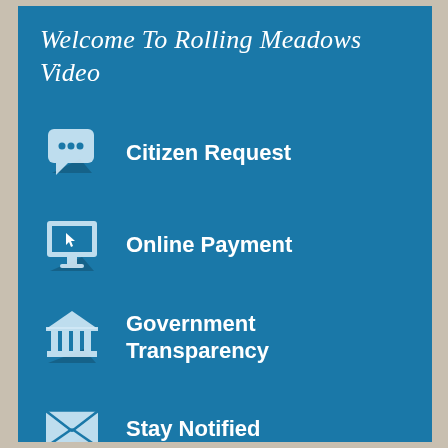Welcome To Rolling Meadows Video
Citizen Request
Online Payment
Government Transparency
Stay Notified